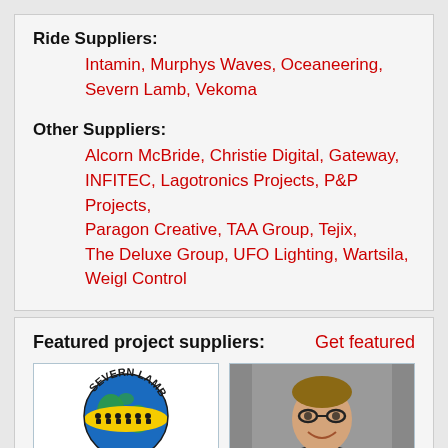Ride Suppliers: Intamin, Murphys Waves, Oceaneering, Severn Lamb, Vekoma
Other Suppliers: Alcorn McBride, Christie Digital, Gateway, INFITEC, Lagotronics Projects, P&P Projects, Paragon Creative, TAA Group, Tejix, The Deluxe Group, UFO Lighting, Wartsila, Weigl Control
Featured project suppliers:
Get featured
[Figure (logo): Severn Lamb company logo — globe with yellow band, figures seated in ride vehicles, company name arced around top]
[Figure (photo): Headshot of a smiling middle-aged man with glasses in a dark shirt]
[Figure (logo): Partial colorful logo visible at bottom left (red/pink swoosh shape)]
[Figure (logo): Partial WEIGL logo visible at bottom right]